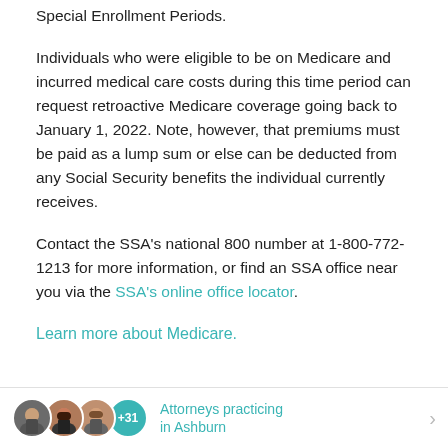Special Enrollment Periods.
Individuals who were eligible to be on Medicare and incurred medical care costs during this time period can request retroactive Medicare coverage going back to January 1, 2022. Note, however, that premiums must be paid as a lump sum or else can be deducted from any Social Security benefits the individual currently receives.
Contact the SSA’s national 800 number at 1-800-772-1213 for more information, or find an SSA office near you via the SSA’s online office locator.
Learn more about Medicare.
[Figure (other): Footer bar with attorney avatar group showing three attorney photos and +31 count badge, alongside teal text 'Attorneys practicing in Ashburn' and a right arrow chevron.]